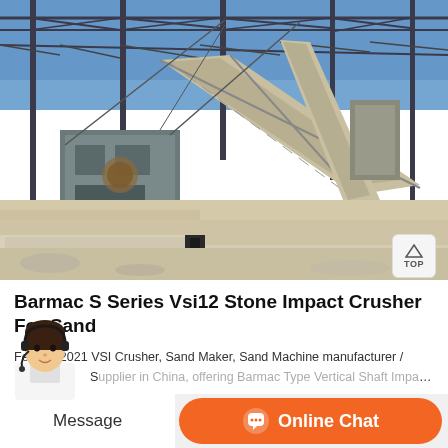[Figure (photo): Industrial stone crushing plant with large conveyor belts and metal framework structure under a blue sky, with crushed stone and concrete foundations in the foreground]
Barmac S Series Vsi12 Stone Impact Crusher For Sand
Feb 08, 2021 VSI Crusher, Sand Maker, Sand Machine manufacturer / Supplier in China, offering Barmac Type Vertical Shaft Impact (VSI) Sand...